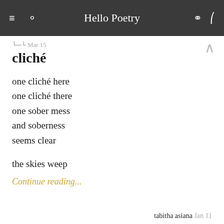Hello Poetry
∐∧∐ Mar 15
cliché
one cliché here
one cliché there
one sober mess
and soberness
seems clear

the skies weep
Continue reading...
tabitha asiana  Jan 11
what ifs
There are days where everything's at the top